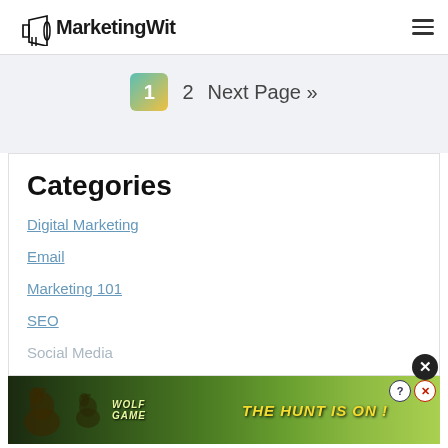MarketingWit
1  2  Next Page »
Categories
Digital Marketing
Email
Marketing 101
SEO
Social Media
[Figure (screenshot): Wolf Game advertisement banner with wolves silhouette, text 'WOLF GAME' and 'THE HUNT IS ON!' on a green outdoor background with close and help buttons.]